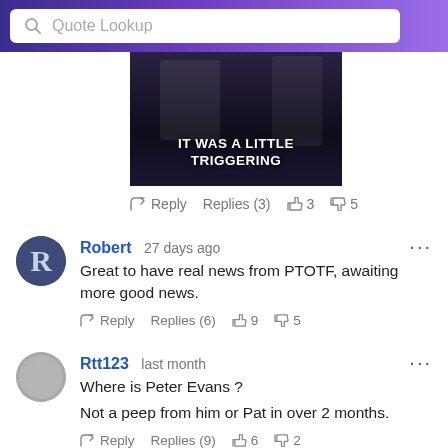Quote Lookup
[Figure (photo): Dark video thumbnail with white bold text reading IT WAS A LITTLE TRIGGERING]
Reply  Replies (3)  3  5
Robert 27 days ago
Great to have real news from PTOTF, awaiting more good news.
Reply  Replies (6)  9  5
Rtt123 last month
Where is Peter Evans ?

Not a peep from him or Pat in over 2 months.
Reply  Replies (9)  6  2